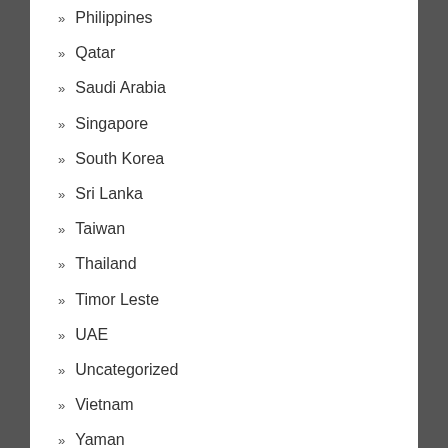Philippines
Qatar
Saudi Arabia
Singapore
South Korea
Sri Lanka
Taiwan
Thailand
Timor Leste
UAE
Uncategorized
Vietnam
Yaman